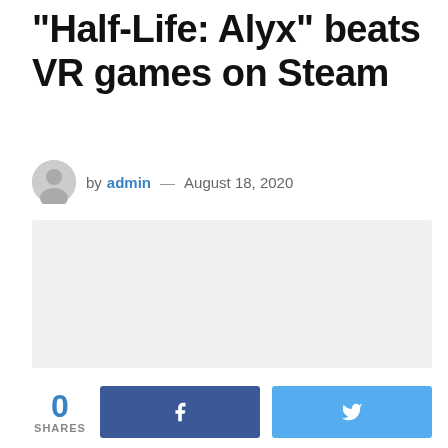"Half-Life: Alyx" beats VR games on Steam
by admin — August 18, 2020
[Figure (other): Large image placeholder (light gray background), likely an embedded image or advertisement area]
0 SHARES
[Figure (other): Facebook share button (dark blue with f icon)]
[Figure (other): Twitter share button (light blue with bird icon)]